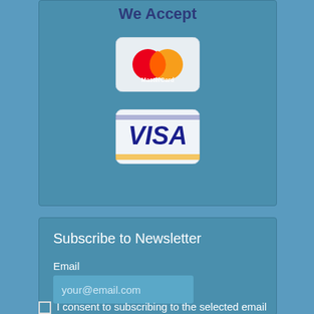We Accept
[Figure (logo): MasterCard logo — red and orange overlapping circles with MasterCard text]
[Figure (logo): Visa logo — blue italic VISA lettering on white rounded rectangle background]
Subscribe to Newsletter
Email
your@email.com
I consent to subscribing to the selected email